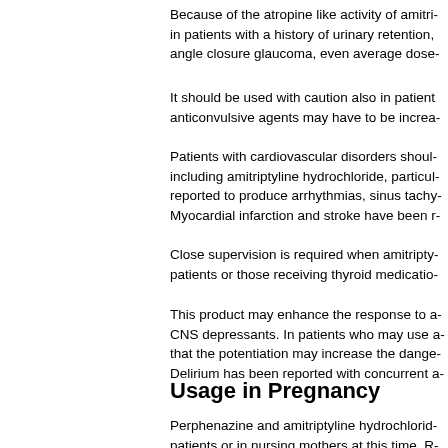Because of the atropine like activity of amitri- in patients with a history of urinary retention, angle closure glaucoma, even average dose-
It should be used with caution also in patient anticonvulsive agents may have to be increa-
Patients with cardiovascular disorders shoul- including amitriptyline hydrochloride, particul- reported to produce arrhythmias, sinus tachy- Myocardial infarction and stroke have been r-
Close supervision is required when amitripty- patients or those receiving thyroid medicatio-
This product may enhance the response to a- CNS depressants. In patients who may use a- that the potentiation may increase the dange- Delirium has been reported with concurrent a-
Usage in Pregnancy
Perphenazine and amitriptyline hydrochlorid- patients or in nursing mothers at this time. R- abnormalities; however, clinical experience-